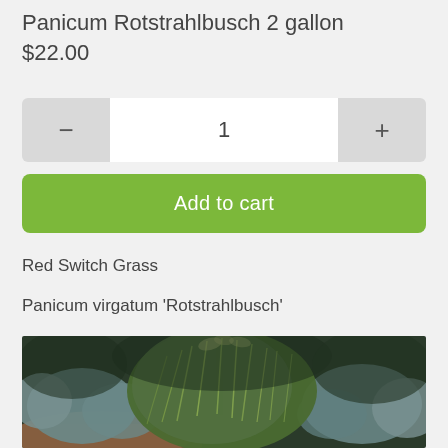Panicum Rotstrahlbusch 2 gallon
$22.00
1
Add to cart
Red Switch Grass
Panicum virgatum 'Rotstrahlbusch'
[Figure (photo): Outdoor garden photo showing ornamental grasses (Panicum virgatum Rotstrahlbusch / Red Switch Grass) with tall green blades, surrounded by blue-green low shrubs, with mulch path visible in foreground.]